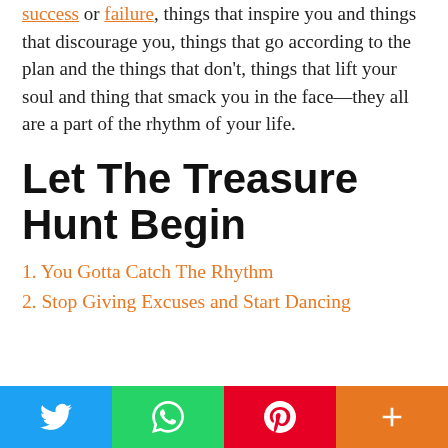success or failure, things that inspire you and things that discourage you, things that go according to the plan and the things that don't, things that lift your soul and thing that smack you in the face—they all are a part of the rhythm of your life.
Let The Treasure Hunt Begin
1. You Gotta Catch The Rhythm
2. Stop Giving Excuses and Start Dancing
[Figure (other): Social sharing bar with Twitter, WhatsApp, Pinterest, and More buttons]